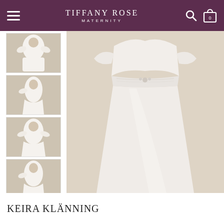TIFFANY ROSE MATERNITY
[Figure (photo): Four small thumbnail images of a pregnant woman wearing a white maternity dress with flutter sleeves, shown from different angles (front, side, back)]
[Figure (photo): Main product image: a pregnant woman wearing a white satin maternity dress with flutter sleeves and gathered empire waist, shown from the front against a warm beige background]
KEIRA KLÄNNING